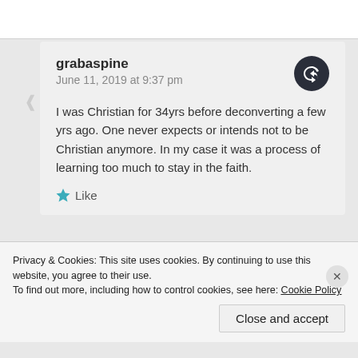grabaspine
June 11, 2019 at 9:37 pm
I was Christian for 34yrs before deconverting a few yrs ago. One never expects or intends not to be Christian anymore. In my case it was a process of learning too much to stay in the faith.
Like
Privacy & Cookies: This site uses cookies. By continuing to use this website, you agree to their use.
To find out more, including how to control cookies, see here: Cookie Policy
Close and accept